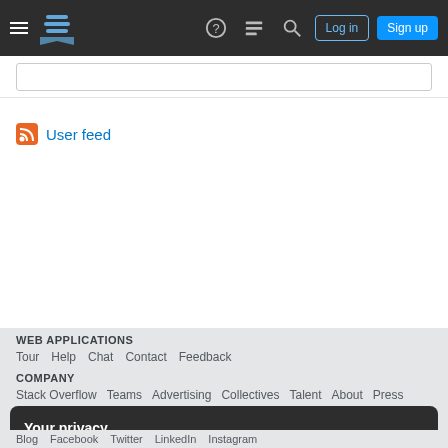Web Applications Stack Exchange navigation header with logo, Log in, Sign up buttons
[Figure (screenshot): Search input box]
User feed
WEB APPLICATIONS
Tour   Help   Chat   Contact   Feedback
COMPANY
Stack Overflow   Teams   Advertising   Collectives   Talent   About   Press
Your privacy
By clicking "Accept all cookies", you agree Stack Exchange can store cookies on your device and disclose information in accordance with our Cookie Policy.
Accept all cookies   Customize settings
Blog   Facebook   Twitter   LinkedIn   Instagram